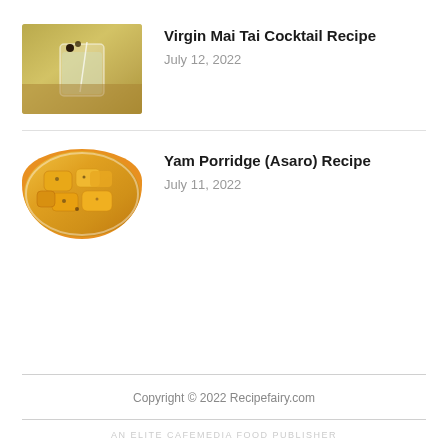[Figure (photo): Photo of a Virgin Mai Tai cocktail in a glass with ice and garnish]
Virgin Mai Tai Cocktail Recipe
July 12, 2022
[Figure (photo): Photo of Yam Porridge (Asaro) on a plate with golden yellow yam pieces]
Yam Porridge (Asaro) Recipe
July 11, 2022
Copyright © 2022 Recipefairy.com
AN ELITE CAFEMEDIA FOOD PUBLISHER